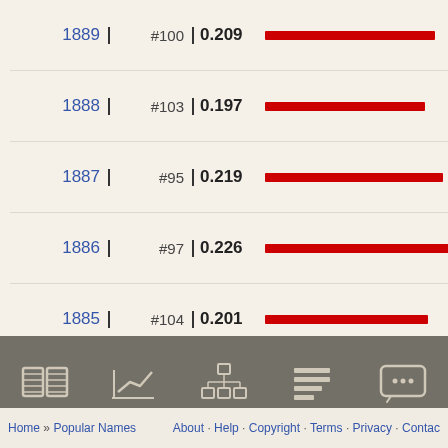[Figure (bar-chart): Name popularity by year]
Home » Popular Names   About · Help · Copyright · Terms · Privacy · Contact